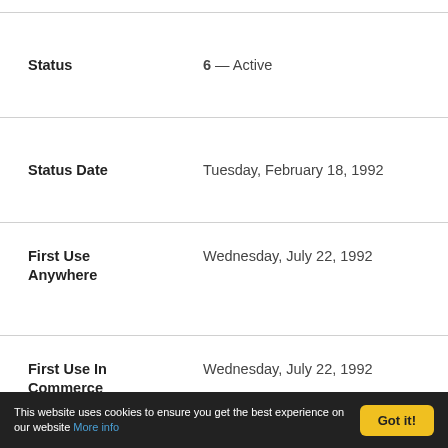Status — 6 — Active
Status Date — Tuesday, February 18, 1992
First Use Anywhere — Wednesday, July 22, 1992
First Use In Commerce — Wednesday, July 22, 1992
This website uses cookies to ensure you get the best experience on our website More info | Got it!